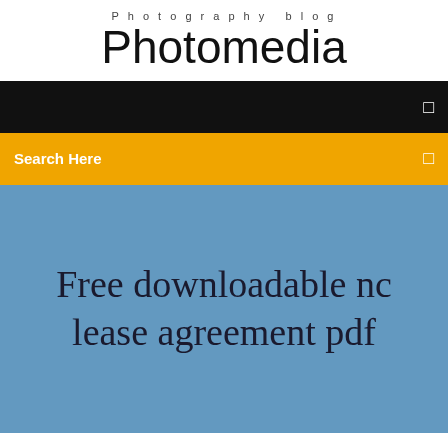Photography blog
Photomedia
☰
Search Here
☰
Free downloadable nc lease agreement pdf